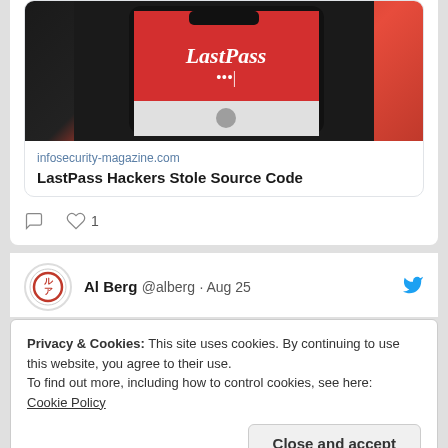[Figure (screenshot): LastPass app screenshot showing red login screen with 'LastPass...' text on a smartphone]
infosecurity-magazine.com
LastPass Hackers Stole Source Code
1
Al Berg @alberg · Aug 25
Privacy & Cookies: This site uses cookies. By continuing to use this website, you agree to their use.
To find out more, including how to control cookies, see here:
Cookie Policy
Close and accept
[Figure (photo): Colorful circular image partially visible at bottom]